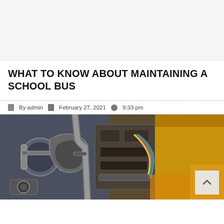[Figure (other): Advertisement banner area (gray background)]
WHAT TO KNOW ABOUT MAINTAINING A SCHOOL BUS
By admin   February 27, 2021   9:33 pm
[Figure (photo): Close-up photograph of a school bus engine compartment showing pipes, hoses, and mechanical components with yellow bus body visible]